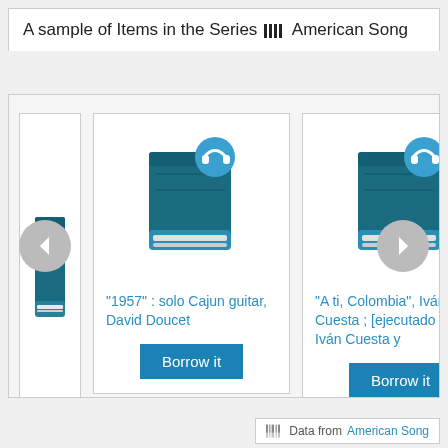A sample of Items in the Series ||| American Song
[Figure (screenshot): Book carousel showing two book items with blue covers and headphone overlays. Left partial card, two full cards visible. Left navigation arrow (gray circle) and right navigation arrow (gray circle) on sides.]
"1957" : solo Cajun guitar, David Doucet
Borrow it
"A ti, Colombia", Iván Cuesta ; [ejecutado por Iván Cuesta y
Borrow it
Data from American Song